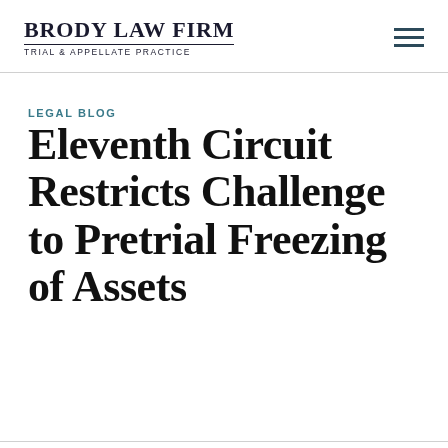BRODY LAW FIRM TRIAL & APPELLATE PRACTICE
LEGAL BLOG
Eleventh Circuit Restricts Challenge to Pretrial Freezing of Assets
Home > Legal Blog > Legal News > Eleventh